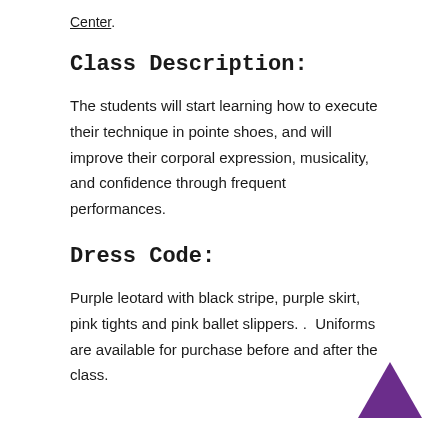Center.
Class Description:
The students will start learning how to execute their technique in pointe shoes, and will improve their corporal expression, musicality, and confidence through frequent performances.
Dress Code:
Purple leotard with black stripe, purple skirt, pink tights and pink ballet slippers. .  Uniforms are available for purchase before and after the class.
[Figure (illustration): Purple filled triangle pointing upward, decorative element in bottom right corner]